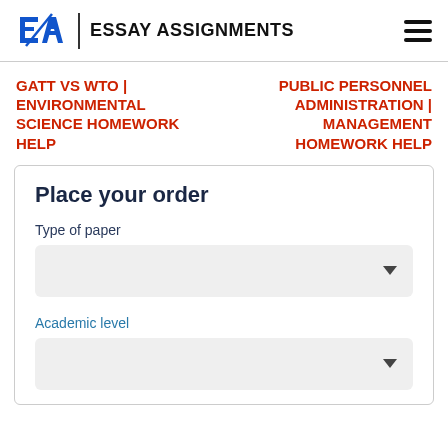EA | ESSAY ASSIGNMENTS
GATT VS WTO | ENVIRONMENTAL SCIENCE HOMEWORK HELP
PUBLIC PERSONNEL ADMINISTRATION | MANAGEMENT HOMEWORK HELP
Place your order
Type of paper
Academic level